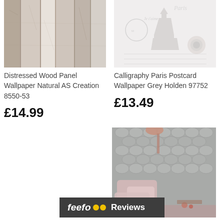[Figure (photo): Distressed wood panel wallpaper texture in grey/white tones]
[Figure (photo): Calligraphy Paris postcard wallpaper with Eiffel Tower and roses in grey tones]
Distressed Wood Panel Wallpaper Natural AS Creation 8550-53
Calligraphy Paris Postcard Wallpaper Grey Holden 97752
£14.99
£13.49
[Figure (photo): Chesterfield tufted grey wallpaper with pink pillows and rose gold lamp in a styled room]
feefo Reviews